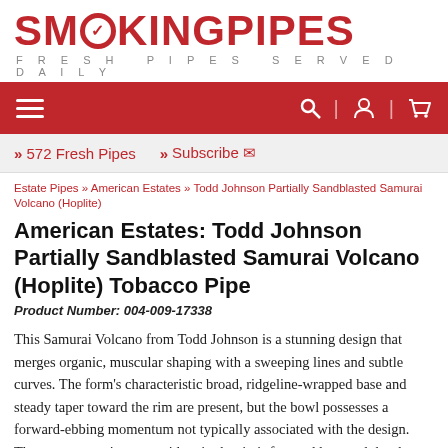[Figure (logo): SmokingPipes logo in red with checkmark in O letter, tagline FRESH PIPES SERVED DAILY]
[Figure (screenshot): Dark red navigation bar with hamburger menu on left, search, account, and cart icons on right]
» 572 Fresh Pipes   » Subscribe ✉
Estate Pipes » American Estates » Todd Johnson Partially Sandblasted Samurai Volcano (Hoplite)
American Estates: Todd Johnson Partially Sandblasted Samurai Volcano (Hoplite) Tobacco Pipe
Product Number: 004-009-17338
This Samurai Volcano from Todd Johnson is a stunning design that merges organic, muscular shaping with a sweeping lines and subtle curves. The form's characteristic broad, ridgeline-wrapped base and steady taper toward the rim are present, but the bowl possesses a forward-ebbing momentum not typically associated with the design. The momentum is most evident in the rim's forward lean and the sharp, cresting point the heel comes to at the fore
Read More